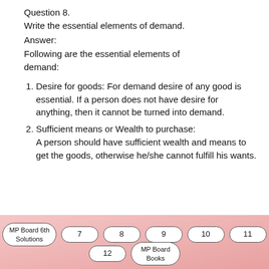Question 8.
Write the essential elements of demand.
Answer:
Following are the essential elements of demand:
Desire for goods: For demand desire of any good is essential. If a person does not have desire for anything, then it cannot be turned into demand.
Sufficient means or Wealth to purchase:
A person should have sufficient wealth and means to get the goods, otherwise he/she cannot fulfill his wants.
MP Board 6th Solutions  7  8  9  10  11  12  MP Board Books